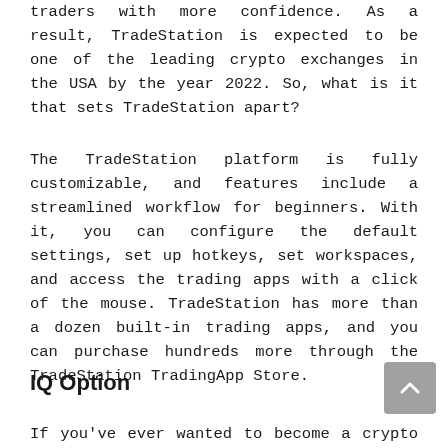traders with more confidence. As a result, TradeStation is expected to be one of the leading crypto exchanges in the USA by the year 2022. So, what is it that sets TradeStation apart?
The TradeStation platform is fully customizable, and features include a streamlined workflow for beginners. With it, you can configure the default settings, set up hotkeys, set workspaces, and access the trading apps with a click of the mouse. TradeStation has more than a dozen built-in trading apps, and you can purchase hundreds more through the TradeStation TradingApp Store.
IQ Option
If you've ever wanted to become a crypto trader